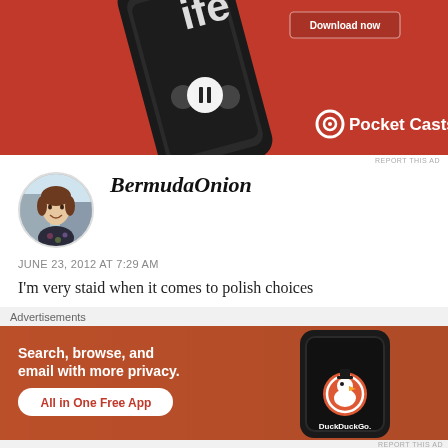[Figure (photo): Pocket Casts app advertisement on red background showing a smartphone with podcast player UI and 'Download now' button. Pocket Casts logo bottom right.]
REPORT THIS AD
[Figure (photo): Circular avatar photo of a woman, used as commenter profile picture for BermudaOnion]
BermudaOnion
JUNE 23, 2012 AT 7:29 AM
I'm very staid when it comes to polish choices
Advertisements
[Figure (photo): DuckDuckGo advertisement on orange/red background. Text: 'Search, browse, and email with more privacy. All in One Free App.' Shows a smartphone with DuckDuckGo logo.]